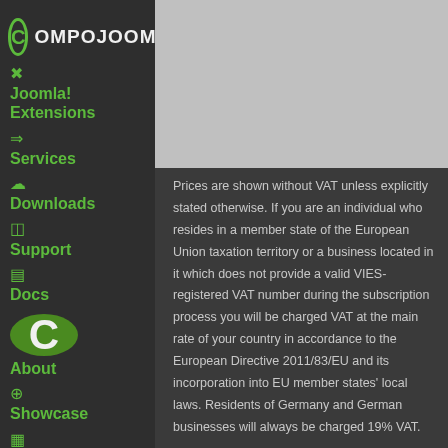[Figure (logo): Compojoom logo with circular C icon and text OMPOJOOM]
Joomla! Extensions
Services
Downloads
Support
Docs
[Figure (logo): Large green circular Compojoom C logo]
About
Showcase
Blog
[Figure (photo): Grey placeholder image area in top right]
Prices are shown without VAT unless explicitly stated otherwise. If you are an individual who resides in a member state of the European Union taxation territory or a business located in it which does not provide a valid VIES-registered VAT number during the subscription process you will be charged VAT at the main rate of your country in accordance to the European Directive 2011/83/EU and its incorporation into EU member states' local laws. Residents of Germany and German businesses will always be charged 19% VAT.